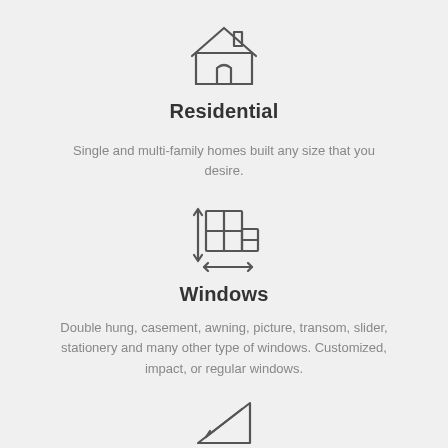[Figure (illustration): House/home icon with roof, chimney, and door outline]
Residential
Single and multi-family homes built any size that you desire.
[Figure (illustration): Window measurement icon showing a window shape with measurement arrows]
Windows
Double hung, casement, awning, picture, transom, slider, stationery and many other type of windows. Customized, impact, or regular windows.
[Figure (illustration): Triangle/ruler drafting icon for commercial]
Commercial